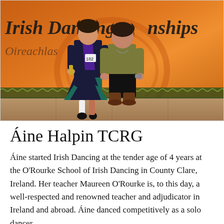[Figure (photo): Two women posing in front of an orange Irish Dancing Championships banner with Celtic border decoration. The younger woman on the left wears an Irish dancing costume (dark dress with teal trim) and a purple sash, holding a trophy or award, with number 182 pinned to her costume. The older woman on the right wears a brown/khaki top and black pants with brown boots.]
Áine Halpin TCRG
Áine started Irish Dancing at the tender age of 4 years at the O'Rourke School of Irish Dancing in County Clare, Ireland. Her teacher Maureen O'Rourke is, to this day, a well-respected and renowned teacher and adjudicator in Ireland and abroad. Áine danced competitively as a solo dancer...